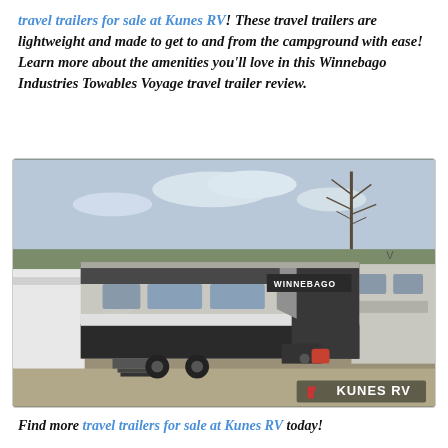travel trailers for sale at Kunes RV! These travel trailers are lightweight and made to get to and from the campground with ease! Learn more about the amenities you'll love in this Winnebago Industries Towables Voyage travel trailer review.
[Figure (photo): Exterior photo of a Winnebago Voyage travel trailer parked in a dealer lot with other RVs visible. Kunes RV watermark in lower right corner.]
Find more travel trailers for sale at Kunes RV today!